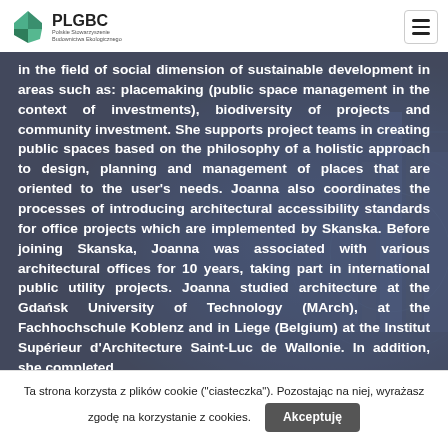PLGBC
in the field of social dimension of sustainable development in areas such as: placemaking (public space management in the context of investments), biodiversity of projects and community investment. She supports project teams in creating public spaces based on the philosophy of a holistic approach to design, planning and management of places that are oriented to the user's needs. Joanna also coordinates the processes of introducing architectural accessibility standards for office projects which are implemented by Skanska. Before joining Skanska, Joanna was associated with various architectural offices for 10 years, taking part in international public utility projects. Joanna studied architecture at the Gdańsk University of Technology (MArch), at the Fachhochschule Koblenz and in Liege (Belgium) at the Institut Supérieur d'Architecture Saint-Luc de Wallonie. In addition, she completed
Ta strona korzysta z plików cookie ("ciasteczka"). Pozostając na niej, wyrażasz zgodę na korzystanie z cookies. Akceptuję